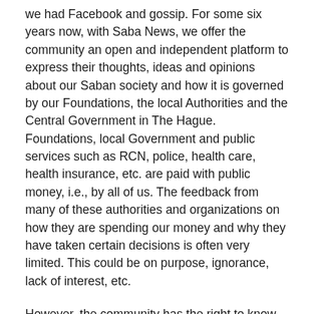we had Facebook and gossip. For some six years now, with Saba News, we offer the community an open and independent platform to express their thoughts, ideas and opinions about our Saban society and how it is governed by our Foundations, the local Authorities and the Central Government in The Hague. Foundations, local Government and public services such as RCN, police, health care, health insurance, etc. are paid with public money, i.e., by all of us. The feedback from many of these authorities and organizations on how they are spending our money and why they have taken certain decisions is often very limited. This could be on purpose, ignorance, lack of interest, etc.
However, the community has the right to know how their money is spent and to express their opinion about the choices made. This affects all individuals that hold some sort of a public function. They are, at least morally, accountable for their decisions.  However, at any time, their privacy needs to be protected as well.  Only activities that directly to their public functions should be discussed in the public arena,
On Saba News we do not author articles ourselves, so we do NOT